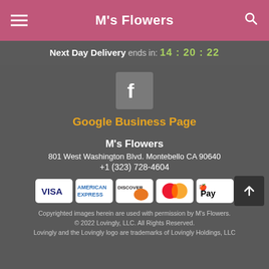M's Flowers
Next Day Delivery ends in: 14:20:22
[Figure (logo): Facebook logo icon in a grey rounded square]
Google Business Page
M's Flowers
801 West Washington Blvd. Montebello CA 90640
+1 (323) 728-4604
[Figure (other): Payment method icons: VISA, American Express, Discover, Mastercard, Apple Pay]
Copyrighted images herein are used with permission by M's Flowers. © 2022 Lovingly, LLC. All Rights Reserved. Lovingly and the Lovingly logo are trademarks of Lovingly Holdings, LLC